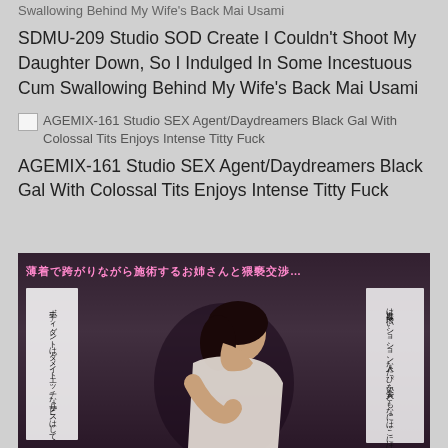Swallowing Behind My Wife's Back Mai Usami
SDMU-209 Studio SOD Create I Couldn't Shoot My Daughter Down, So I Indulged In Some Incestuous Cum Swallowing Behind My Wife's Back Mai Usami
[Figure (photo): Broken image placeholder for AGEMIX-161 Studio SEX Agent/Daydreamers Black Gal With Colossal Tits Enjoys Intense Titty Fuck]
AGEMIX-161 Studio SEX Agent/Daydreamers Black Gal With Colossal Tits Enjoys Intense Titty Fuck
[Figure (photo): Photo with Japanese text overlay showing a person leaning forward with pink text at top reading Japanese characters and white text panels on left and right sides]